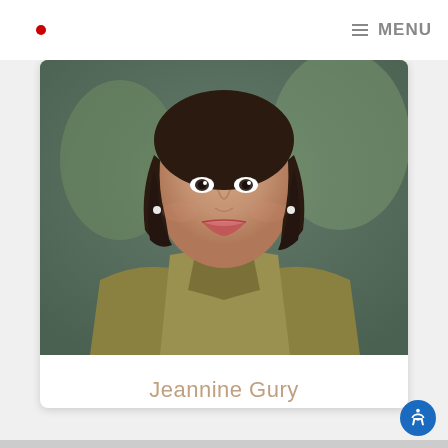≡MENU
[Figure (photo): Professional headshot of Jeannine Gury, a woman with dark shoulder-length hair, smiling, wearing an olive/khaki-colored textured blouse, photographed outdoors with a blurred green background.]
Jeannine Gury
Designer, Experience Design